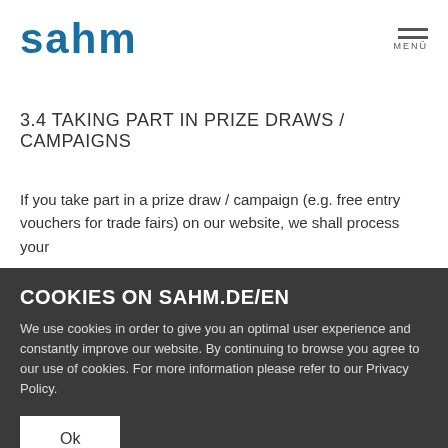sahm
3.4 TAKING PART IN PRIZE DRAWS / CAMPAIGNS
If you take part in a prize draw / campaign (e.g. free entry vouchers for trade fairs) on our website, we shall process your
COOKIES ON SAHM.DE/EN
We use cookies in order to give you an optimal user experience and constantly improve our website. By continuing to browse you agree to our use of cookies. For more information please refer to our Privacy Policy.
Ok